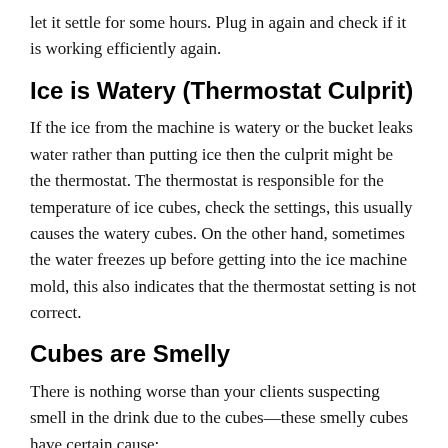let it settle for some hours. Plug in again and check if it is working efficiently again.
Ice is Watery (Thermostat Culprit)
If the ice from the machine is watery or the bucket leaks water rather than putting ice then the culprit might be the thermostat. The thermostat is responsible for the temperature of ice cubes, check the settings, this usually causes the watery cubes. On the other hand, sometimes the water freezes up before getting into the ice machine mold, this also indicates that the thermostat setting is not correct.
Cubes are Smelly
There is nothing worse than your clients suspecting smell in the drink due to the cubes—these smelly cubes have certain cause: